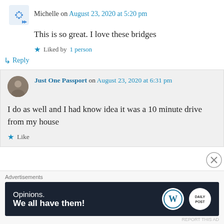Michelle on August 23, 2020 at 5:20 pm
This is so great. I love these bridges
★ Liked by 1 person
↳ Reply
Just One Passport on August 23, 2020 at 6:31 pm
I do as well and I had know idea it was a 10 minute drive from my house
★ Like
Advertisements
[Figure (other): WordPress advertisement banner: dark navy background with text 'Opinions. We all have them!' and WordPress and Daily Post logos on the right side.]